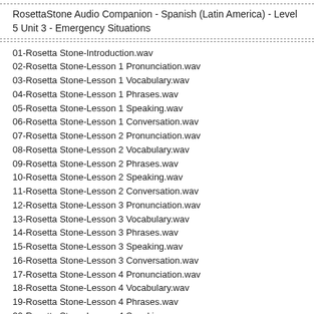RosettaStone Audio Companion - Spanish (Latin America) - Level 5 Unit 3 - Emergency Situations
01-Rosetta Stone-Introduction.wav
02-Rosetta Stone-Lesson 1 Pronunciation.wav
03-Rosetta Stone-Lesson 1 Vocabulary.wav
04-Rosetta Stone-Lesson 1 Phrases.wav
05-Rosetta Stone-Lesson 1 Speaking.wav
06-Rosetta Stone-Lesson 1 Conversation.wav
07-Rosetta Stone-Lesson 2 Pronunciation.wav
08-Rosetta Stone-Lesson 2 Vocabulary.wav
09-Rosetta Stone-Lesson 2 Phrases.wav
10-Rosetta Stone-Lesson 2 Speaking.wav
11-Rosetta Stone-Lesson 2 Conversation.wav
12-Rosetta Stone-Lesson 3 Pronunciation.wav
13-Rosetta Stone-Lesson 3 Vocabulary.wav
14-Rosetta Stone-Lesson 3 Phrases.wav
15-Rosetta Stone-Lesson 3 Speaking.wav
16-Rosetta Stone-Lesson 3 Conversation.wav
17-Rosetta Stone-Lesson 4 Pronunciation.wav
18-Rosetta Stone-Lesson 4 Vocabulary.wav
19-Rosetta Stone-Lesson 4 Phrases.wav
20-Rosetta Stone-Lesson 4 Speaking.wav
21-Rosetta Stone-Lesson 4 Conversation.wav
Readme.txt